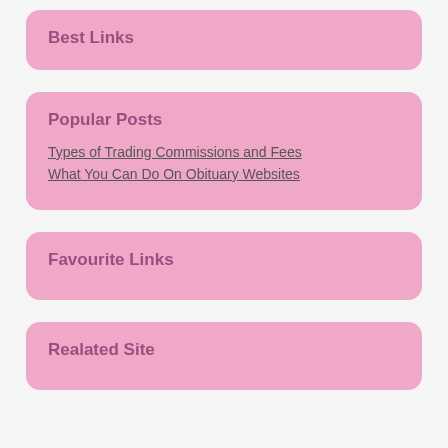Best Links
Popular Posts
Types of Trading Commissions and Fees
What You Can Do On Obituary Websites
Favourite Links
Realated Site